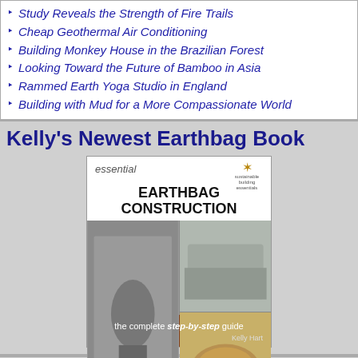Study Reveals the Strength of Fire Trails
Cheap Geothermal Air Conditioning
Building Monkey House in the Brazilian Forest
Looking Toward the Future of Bamboo in Asia
Rammed Earth Yoga Studio in England
Building with Mud for a More Compassionate World
Kelly's Newest Earthbag Book
[Figure (photo): Book cover of 'Essential Earthbag Construction - the complete step-by-step guide' by Kelly Hart, showing photos of earthbag construction and finished earthbag structures]
Kelly's Other Earthbag Book